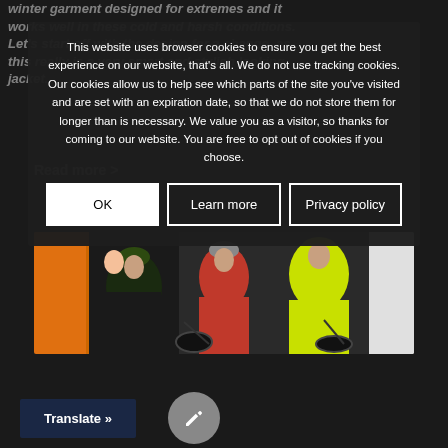winter garment designed for extremes and it works well in these cold and harsh conditions. Let's start off with the design for a change, as this really is a very smart and stylish looking jacket.
Read more >
[Figure (photo): Group of cyclists in colorful winter cycling gear on a snowy road]
This website uses browser cookies to ensure you get the best experience on our website, that's all. We do not use tracking cookies. Our cookies allow us to help see which parts of the site you've visited and are set with an expiration date, so that we do not store them for longer than is necessary. We value you as a visitor, so thanks for coming to our website. You are free to opt out of cookies if you choose.
OK | Learn more | Privacy policy
Translate »